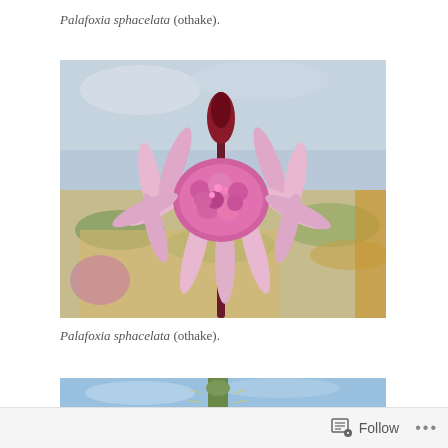Palafoxia sphacelata (othake).
[Figure (photo): Close-up photograph of a Palafoxia sphacelata (othake) flower with pink petals and a dense pink center, stem visible, blurred sandy and green background with overcast sky.]
Palafoxia sphacelata (othake).
[Figure (photo): Partial view of another plant photograph, showing blue sky and what appears to be a cactus or spiny plant, partially cut off at the bottom of the page.]
Follow ...